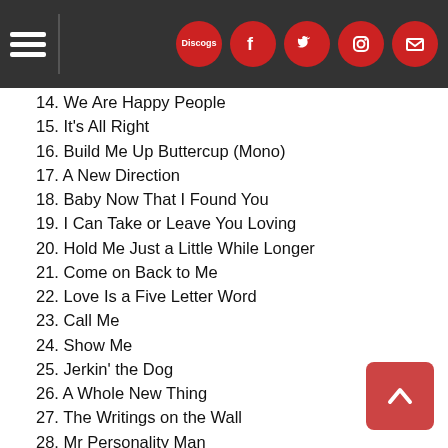Navigation header with hamburger menu and social icons
14. We Are Happy People
15. It's All Right
16. Build Me Up Buttercup (Mono)
17. A New Direction
18. Baby Now That I Found You
19. I Can Take or Leave You Loving
20. Hold Me Just a Little While Longer
21. Come on Back to Me
22. Love Is a Five Letter Word
23. Call Me
24. Show Me
25. Jerkin' the Dog
26. A Whole New Thing
27. The Writings on the Wall
28. Mr Personality Man
29. Am I Groovin' You (Studio Version)
30. Harlem Shuffle (Studio Version)
31. Tomorrow (Studio Version)
32. Give Me Love
33. My Little Chickadee